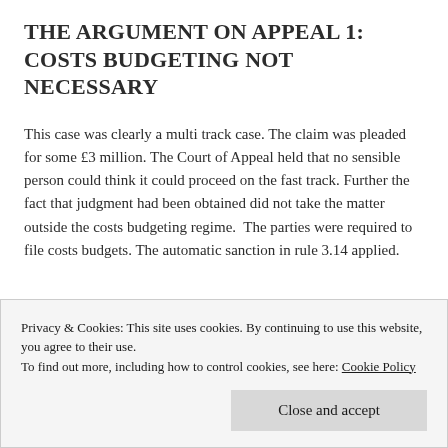THE ARGUMENT ON APPEAL 1: COSTS BUDGETING NOT NECESSARY
This case was clearly a multi track case. The claim was pleaded for some £3 million. The Court of Appeal held that no sensible person could think it could proceed on the fast track. Further the fact that judgment had been obtained did not take the matter outside the costs budgeting regime. The parties were required to file costs budgets. The automatic sanction in rule 3.14 applied.
Privacy & Cookies: This site uses cookies. By continuing to use this website, you agree to their use. To find out more, including how to control cookies, see here: Cookie Policy
District judge erred in finding that the present